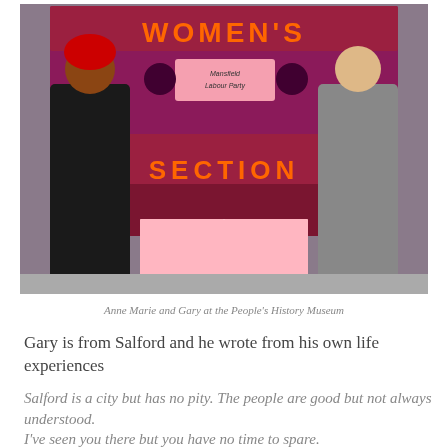[Figure (photo): Two people standing in front of a red and purple banner reading 'WOMEN'S SECTION' with 'Mansfield Labour Party' text. There is a display stand/table in front with pink informational panels.]
Anne Marie and Gary at the People's History Museum
Gary is from Salford and he wrote from his own life experiences
Salford is a city but has no pity. The people are good but not always understood.
I've seen you there but you have no time to spare.
You see the trouble but you don't understand my struggle.